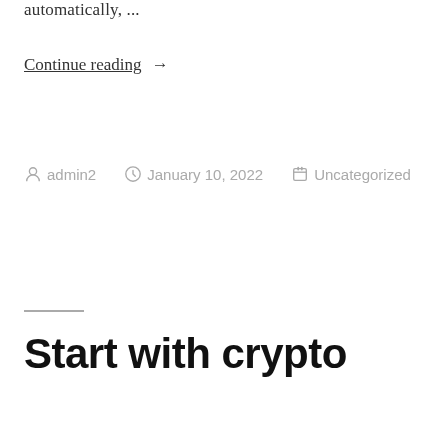automatically, ...
Continue reading →
by admin2   January 10, 2022   Uncategorized
Start with crypto